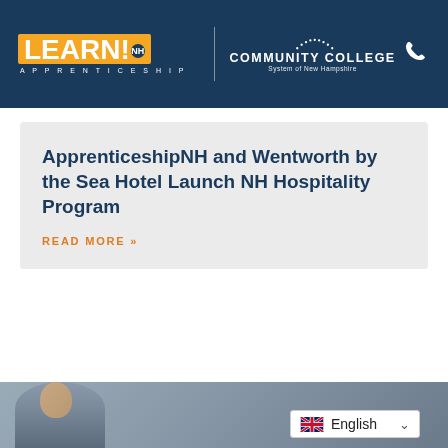[Figure (logo): LEARN! NH Apprenticeship and Community College System of New Hampshire logos on dark blue header background with phone icon]
ApprenticeshipNH and Wentworth by the Sea Hotel Launch NH Hospitality Program
READ MORE »
[Figure (photo): Bottom strip showing partial photo of a person, with English language selector dropdown overlay]